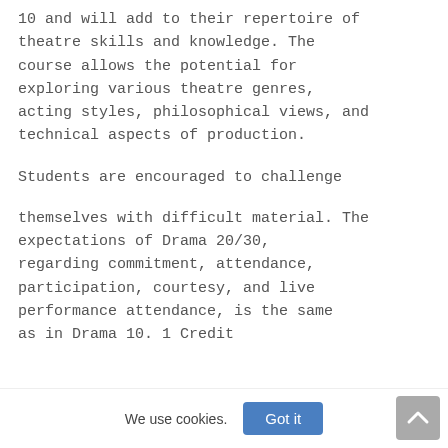10 and will add to their repertoire of theatre skills and knowledge. The course allows the potential for exploring various theatre genres, acting styles, philosophical views, and technical aspects of production.
Students are encouraged to challenge
themselves with difficult material. The expectations of Drama 20/30, regarding commitment, attendance, participation, courtesy, and live performance attendance, is the same as in Drama 10. 1 Credit
We use cookies.